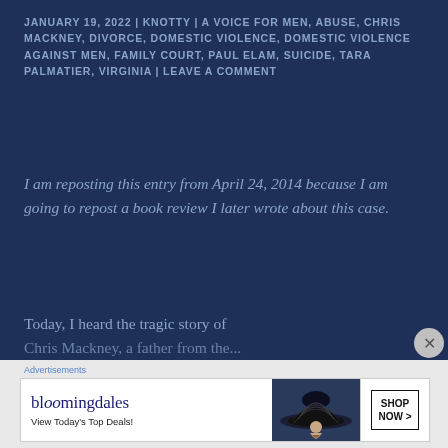JANUARY 19, 2022 | KNOTTY | A VOICE FOR MEN, ABUSE, CHRIS MACKNEY, DIVORCE, DOMESTIC VIOLENCE, DOMESTIC VIOLENCE AGAINST MEN, FAMILY COURT, PAUL ELAM, SUICIDE, TARA PALMATIER, VIRGINIA | LEAVE A COMMENT
I am reposting this entry from April 24, 2014 because I am going to repost a book review I later wrote about this case.
Today, I heard the tragic story of Chris Mackney, a father from the...
[Figure (other): Bloomingdale's advertisement banner showing logo, 'View Today's Top Deals!' tagline, a woman wearing a wide-brim hat, and a 'SHOP NOW >' call-to-action button]